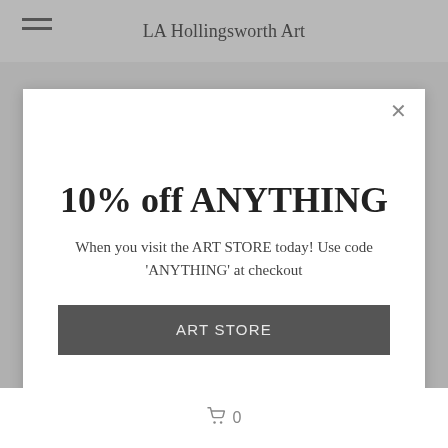LA Hollingsworth Art
10% off ANYTHING
When you visit the ART STORE today! Use code 'ANYTHING' at checkout
ART STORE
0